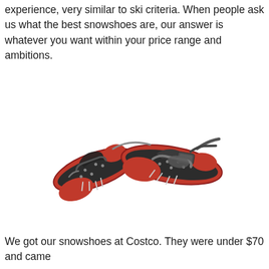experience, very similar to ski criteria. When people ask us what the best snowshoes are, our answer is whatever you want within your price range and ambitions.
[Figure (photo): A pair of red and black snowshoes with metal crampons, black straps and bindings, shown from above at an angle on a white background.]
We got our snowshoes at Costco. They were under $70 and came